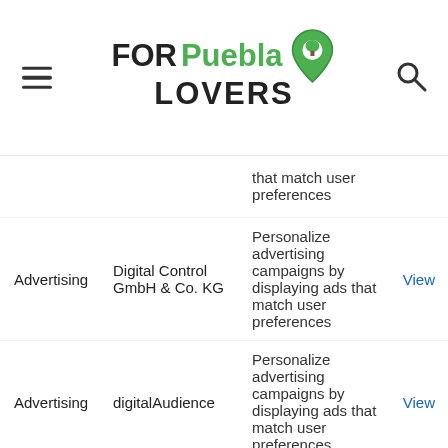[Figure (logo): FORPuebla LOVERS logo with green map pin icon, hamburger menu on left, search icon on right]
| Category | Provider | Purpose | Link |
| --- | --- | --- | --- |
|  |  | that match user preferences |  |
| Advertising | Digital Control GmbH & Co. KG | Personalize advertising campaigns by displaying ads that match user preferences | View |
| Advertising | digitalAudience | Personalize advertising campaigns by displaying ads that match user preferences | View |
|  |  | Personalize |  |